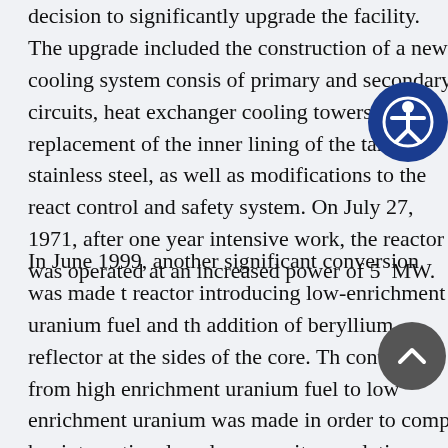decision to significantly upgrade the facility. The upgrade included the construction of a new cooling system consisting of primary and secondary circuits, heat exchangers and cooling towers, replacement of the inner lining of the tank with stainless steel, as well as modifications to the reactor control and safety system. On July 27, 1971, after one year intensive work, the reactor was operated at an increased power of 5 MW.
In June 1999, another significant conversion was made to the reactor introducing low-enrichment uranium fuel and the addition of beryllium reflector at the sides of the core. The conversion from high enrichment uranium fuel to low enrichment uranium was made in order to comply with new international nuclear security regulations, improve fuel consumption and achieve higher neutron flux in the